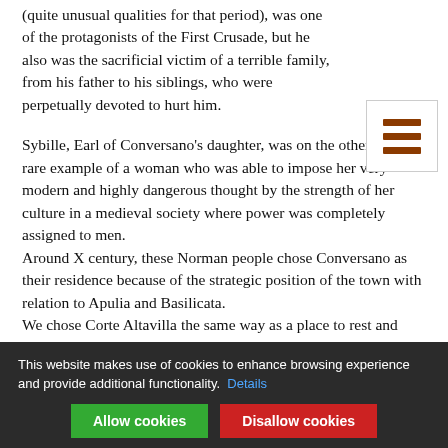(quite unusual qualities for that period), was one of the protagonists of the First Crusade, but he also was the sacrificial victim of a terrible family, from his father to his siblings, who were perpetually devoted to hurt him.
[Figure (illustration): Hamburger menu icon: three horizontal brown bars in a bordered white square]
Sybille, Earl of Conversano’s daughter, was on the other way a rare example of a woman who was able to impose her very modern and highly dangerous thought by the strength of her culture in a medieval society where power was completely assigned to men.
Around X century, these Norman people chose Conversano as their residence because of the strategic position of the town with relation to Apulia and Basilicata.
We chose Corte Altavilla the same way as a place to rest and most of all as a point of departure and crossroads to excursions that reveal the beauties of Apulia and Basilicata to sharp guests through different cultural and food & wine
This website makes use of cookies to enhance browsing experience and provide additional functionality. Details
Allow cookies
Disallow cookies